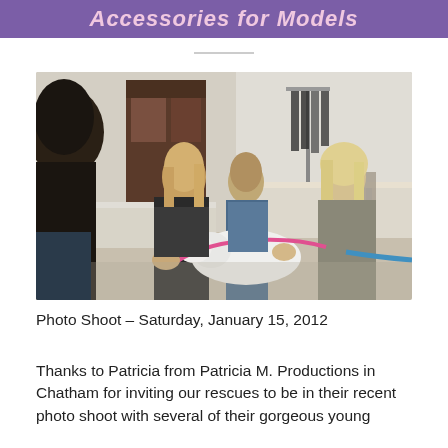Accessories for Models
[Figure (photo): Several young women and girls gathered on the floor petting/grooming dogs at an indoor photo shoot venue. Tables and clothing racks visible in background.]
Photo Shoot – Saturday, January 15, 2012
Thanks to Patricia from Patricia M. Productions in Chatham for inviting our rescues to be in their recent photo shoot with several of their gorgeous young